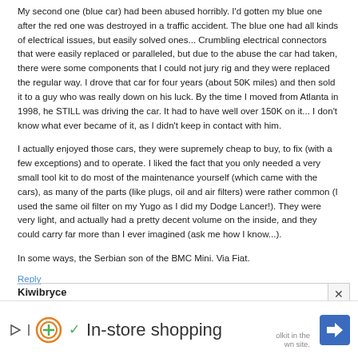My second one (blue car) had been abused horribly. I'd gotten my blue one after the red one was destroyed in a traffic accident. The blue one had all kinds of electrical issues, but easily solved ones... Crumbling electrical connectors that were easily replaced or paralleled, but due to the abuse the car had taken, there were some components that I could not jury rig and they were replaced the regular way. I drove that car for four years (about 50K miles) and then sold it to a guy who was really down on his luck. By the time I moved from Atlanta in 1998, he STILL was driving the car. It had to have well over 150K on it... I don't know what ever became of it, as I didn't keep in contact with him.
I actually enjoyed those cars, they were supremely cheap to buy, to fix (with a few exceptions) and to operate. I liked the fact that you only needed a very small tool kit to do most of the maintenance yourself (which came with the cars), as many of the parts (like plugs, oil and air filters) were rather common (I used the same oil filter on my Yugo as I did my Dodge Lancer!). They were very light, and actually had a pretty decent volume on the inside, and they could carry far more than I ever imagined (ask me how I know...).
In some ways, the Serbian son of the BMC Mini. Via Fiat.
Reply
Kiwibryce
May 30, 2013
[Figure (other): Advertisement banner showing In-store shopping text with play icon, plus icon, checkmark, and navigation arrow icon]